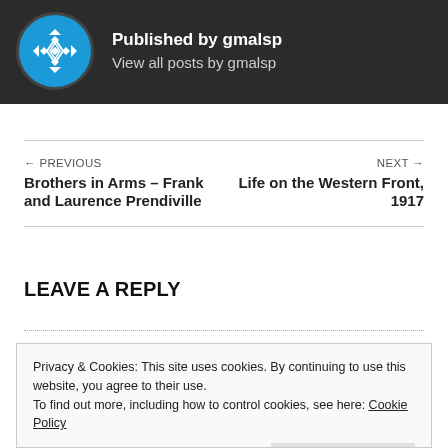[Figure (illustration): Author card with dark background, circular avatar with blue geometric pattern, and text 'Published by gmalsp' and 'View all posts by gmalsp']
← PREVIOUS
Brothers in Arms – Frank and Laurence Prendiville
NEXT →
Life on the Western Front, 1917
LEAVE A REPLY
Privacy & Cookies: This site uses cookies. By continuing to use this website, you agree to their use.
To find out more, including how to control cookies, see here: Cookie Policy